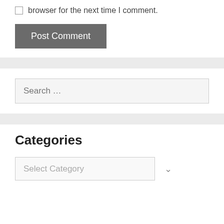browser for the next time I comment.
Post Comment
Search …
Categories
Select Category